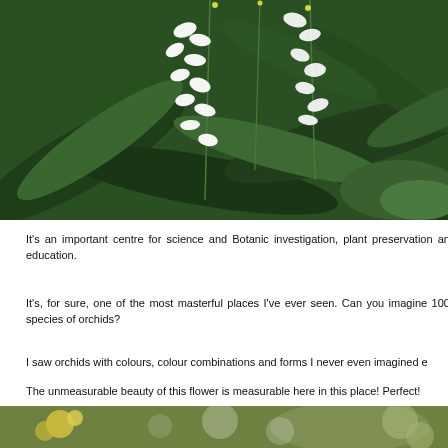[Figure (photo): White orchid flowers cascading over lush tropical green foliage]
It's an important centre for science and Botanic investigation, plant preservation and education.
It's, for sure, one of the most masterful places I've ever seen. Can you imagine 1000 species of orchids?
I saw orchids with colours, colour combinations and forms I never even imagined e
The unmeasurable beauty of this flower is measurable here in this place! Perfect!
[Figure (photo): Blurred outdoor greenery with yellow flowers, partial view at bottom of page]